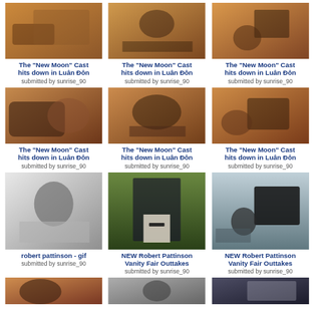[Figure (photo): Photo of New Moon cast at airport, warm tones, top-left, partial]
[Figure (photo): Photo of New Moon cast at airport, warm tones, top-center]
[Figure (photo): Photo of New Moon cast at airport, warm tones, top-right]
The "New Moon" Cast hits down in Luân Đôn
submitted by sunrise_90
The "New Moon" Cast hits down in Luân Đôn
submitted by sunrise_90
The "New Moon" Cast hits down in Luân Đôn
submitted by sunrise_90
[Figure (photo): Photo of New Moon cast seated, warm tones, row 2 left]
[Figure (photo): Photo of New Moon cast seated, warm tones, row 2 center]
[Figure (photo): Photo of New Moon cast seated, warm tones, row 2 right]
The "New Moon" Cast hits down in Luân Đôn
submitted by sunrise_90
The "New Moon" Cast hits down in Luân Đôn
submitted by sunrise_90
The "New Moon" Cast hits down in Luân Đôn
submitted by sunrise_90
[Figure (photo): Black and white photo of Robert Pattinson lying down]
[Figure (photo): Color photo of Robert Pattinson in suit with tie, green background]
[Figure (photo): Photo of Robert Pattinson near grand piano outdoors]
robert pattinson - gif
submitted by sunrise_90
NEW Robert Pattinson Vanity Fair Outtakes
submitted by sunrise_90
NEW Robert Pattinson Vanity Fair Outtakes
submitted by sunrise_90
[Figure (photo): Partial photo row 4 left]
[Figure (photo): Partial photo row 4 center]
[Figure (photo): Partial photo row 4 right]